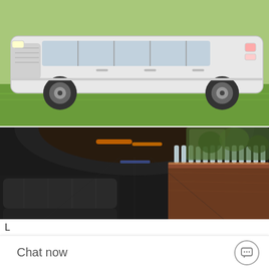[Figure (photo): White stretch limousine parked on grass, exterior side view showing the full length of the vehicle with chrome grille and alloy wheels.]
[Figure (photo): Interior of a stretch limousine showing long black leather bench seating on the left, a wood-paneled bar with crystal glassware on the right, ambient orange accent lighting on the ceiling, and windows looking out to autumn trees.]
L
Chat now